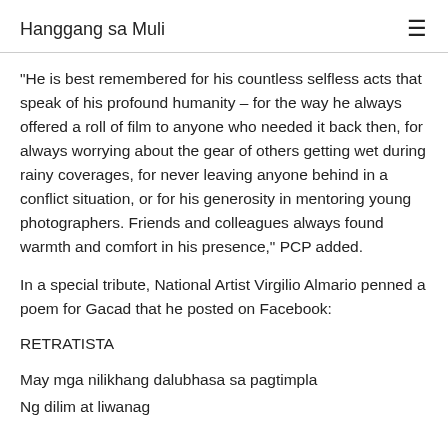Hanggang sa Muli
"He is best remembered for his countless selfless acts that speak of his profound humanity – for the way he always offered a roll of film to anyone who needed it back then, for always worrying about the gear of others getting wet during rainy coverages, for never leaving anyone behind in a conflict situation, or for his generosity in mentoring young photographers. Friends and colleagues always found warmth and comfort in his presence," PCP added.
In a special tribute, National Artist Virgilio Almario penned a poem for Gacad that he posted on Facebook:
RETRATISTA
May mga nilikhang dalubhasa sa pagtimpla
Ng dilim at liwanag